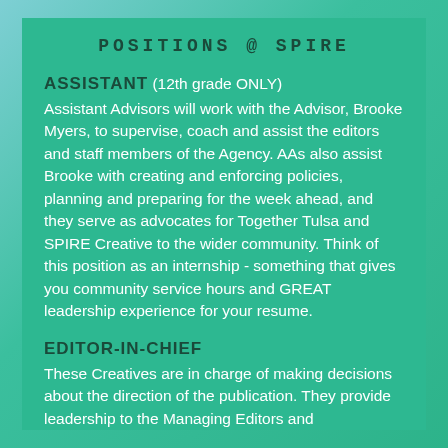POSITIONS @ SPIRE
ASSISTANT (12th grade ONLY)
Assistant Advisors will work with the Advisor, Brooke Myers, to supervise, coach and assist the editors and staff members of the Agency. AAs also assist Brooke with creating and enforcing policies, planning and preparing for the week ahead, and they serve as advocates for Together Tulsa and SPIRE Creative to the wider community. Think of this position as an internship - something that gives you community service hours and GREAT leadership experience for your resume.
EDITOR-IN-CHIEF
These Creatives are in charge of making decisions about the direction of the publication. They provide leadership to the Managing Editors and salespeople, assign duties and